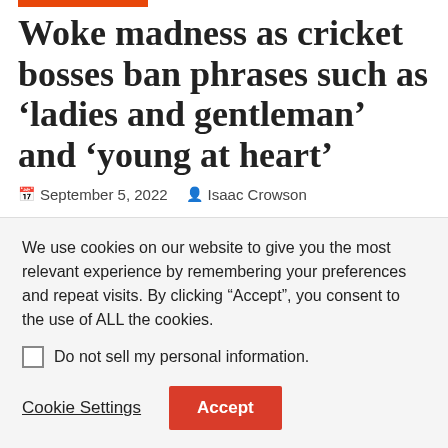Woke madness as cricket bosses ban phrases such as ‘ladies and gentleman’ and ‘young at heart’
September 5, 2022  Isaac Crowson
WOKE cricket bosses are banning phrases such as “ladies
We use cookies on our website to give you the most relevant experience by remembering your preferences and repeat visits. By clicking “Accept”, you consent to the use of ALL the cookies.
Do not sell my personal information.
Cookie Settings  Accept